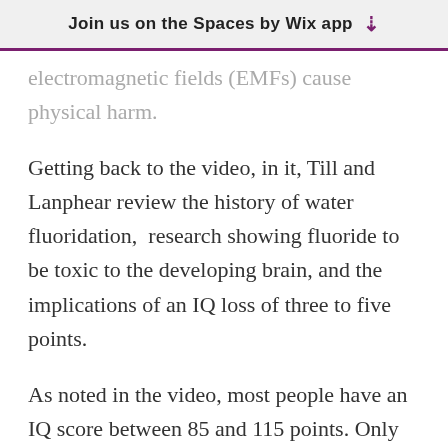Join us on the Spaces by Wix app ↓
electromagnetic fields (EMFs) cause physical harm.
Getting back to the video, in it, Till and Lanphear review the history of water fluoridation,  research showing fluoride to be toxic to the developing brain, and the implications of an IQ loss of three to five points.
As noted in the video, most people have an IQ score between 85 and 115 points. Only 2.5% of children have an IQ above 130, which is